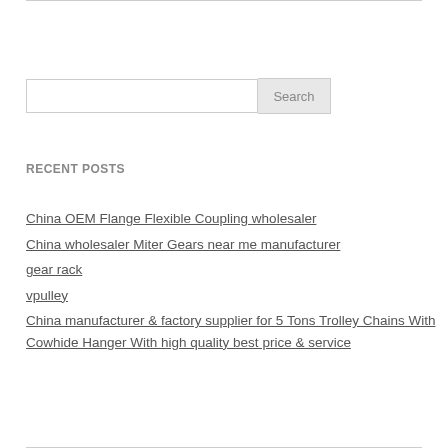[Search input]
RECENT POSTS
China OEM Flange Flexible Coupling wholesaler
China wholesaler Miter Gears near me manufacturer
gear rack
vpulley
China manufacturer & factory supplier for 5 Tons Trolley Chains With Cowhide Hanger With high quality best price & service